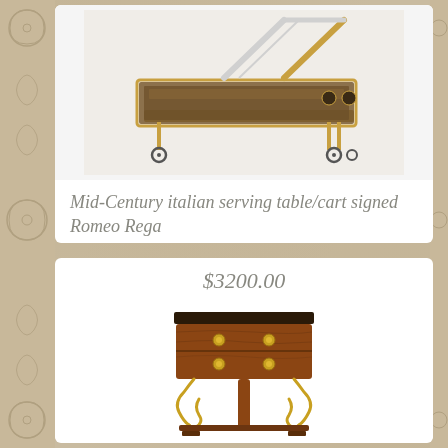[Figure (photo): Mid-century Italian serving table/bar cart by Romeo Rega, with mirrored trays and brass frame on wheels]
Mid-Century italian serving table/cart signed Romeo Rega
$3200.00
[Figure (photo): Antique wooden side table with two drawers and ornate metal scroll legs]